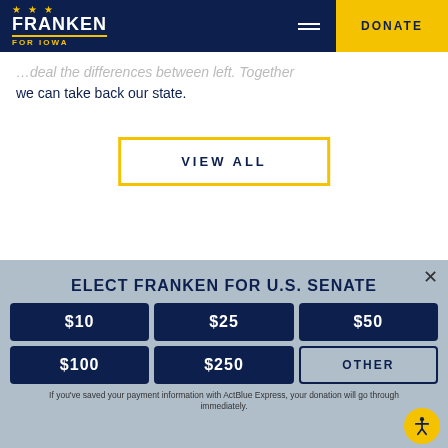FRANKEN FOR IOWA — DONATE
...deal the differences between left. Together we can take back our state.
VIEW ALL
ELECT FRANKEN FOR U.S. SENATE
$10
$25
$50
$100
$250
OTHER
If you've saved your payment information with ActBlue Express, your donation will go through immediately.